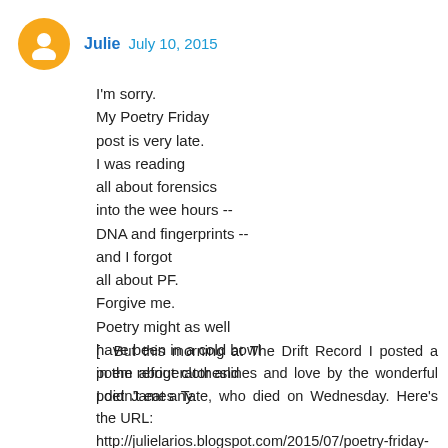Julie  July 10, 2015
I'm sorry.
My Poetry Friday
post is very late.
I was reading
all about forensics
into the wee hours --
DNA and fingerprints --
and I forgot
all about PF.
Forgive me.
Poetry might as well
have been in a cold bowl
in the refrigerator and
I didn't eat any.
[ But this morning at The Drift Record I posted a poem about clotheslines and love by the wonderful poet James Tate, who died on Wednesday. Here's the URL: http://julielarios.blogspot.com/2015/07/poetry-friday-james-tate-1943-2015.html